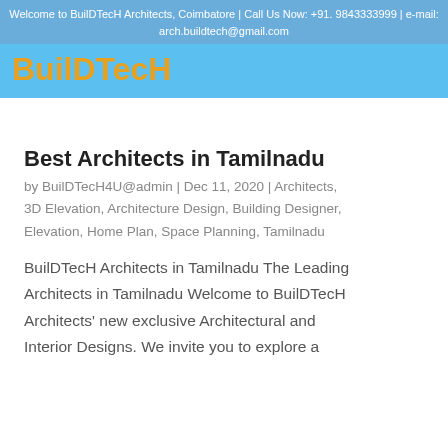Welcome to BuilDTecH Architects, Coimbatore | Call Us Now: +91. 9843333999 | e-mail: arch.buildtech@gmail.com
BuilDTecH
Best Architects in Tamilnadu
by BuilDTecH4U@admin | Dec 11, 2020 | Architects, 3D Elevation, Architecture Design, Building Designer, Elevation, Home Plan, Space Planning, Tamilnadu
BuilDTecH Architects in Tamilnadu The Leading Architects in Tamilnadu Welcome to BuilDTecH Architects' new exclusive Architectural and Interior Designs. We invite you to explore a